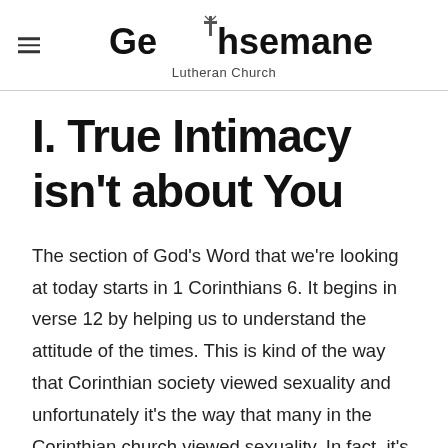Gethsemane Lutheran Church
I. True Intimacy isn't about You
The section of God's Word that we're looking at today starts in 1 Corinthians 6. It begins in verse 12 by helping us to understand the attitude of the times. This is kind of the way that Corinthian society viewed sexuality and unfortunately it's the way that many in the Corinthian church viewed sexuality. In fact, it's in